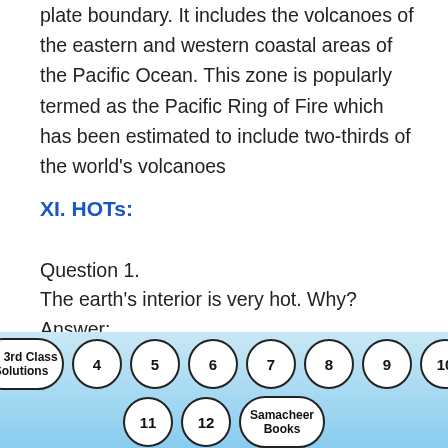plate boundary. It includes the volcanoes of the eastern and western coastal areas of the Pacific Ocean. This zone is popularly termed as the Pacific Ring of Fire which has been estimated to include two-thirds of the world's volcanoes
XI. HOTs:
Question 1.
The earth's interior is very hot. Why?
Answer:
The innermost layer of the earth, called the core has two parts, the outer core, and the inner core.
TN 3rd Class Solutions  4  5  6  7  8  9  10  11  12  Samacheer Books